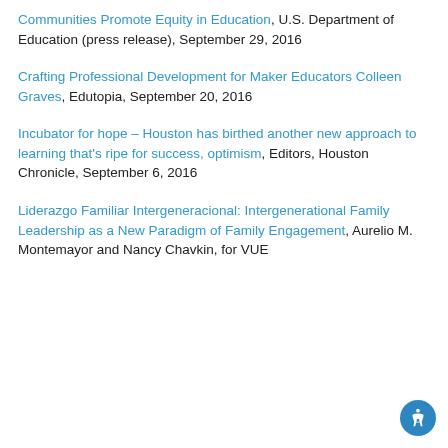Communities Promote Equity in Education, U.S. Department of Education (press release), September 29, 2016
Crafting Professional Development for Maker Educators Colleen Graves, Edutopia, September 20, 2016
Incubator for hope – Houston has birthed another new approach to learning that's ripe for success, optimism, Editors, Houston Chronicle, September 6, 2016
Liderazgo Familiar Intergeneracional: Intergenerational Family Leadership as a New Paradigm of Family Engagement, Aurelio M. Montemayor and Nancy Chavkin, for VUE